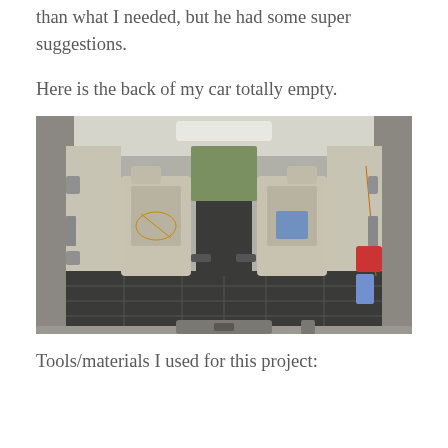than what I needed, but he had some super suggestions.
Here is the back of my car totally empty.
[Figure (photo): Interior view of the back of a minivan/SUV with the rear hatch open, showing the empty cargo area with a rubber mat floor, folded second-row seats, and various straps and accessories along the sides.]
Tools/materials I used for this project: